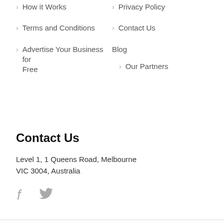How it Works
Privacy Policy
Terms and Conditions
Contact Us
Advertise Your Business for Free
Blog
Our Partners
Contact Us
Level 1, 1 Queens Road, Melbourne
VIC 3004, Australia
[Figure (other): Social media icons: Facebook (f) and Twitter (bird icon)]